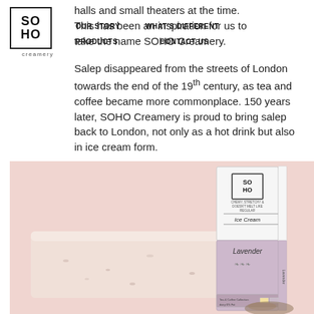[Figure (logo): SOHO Creamery logo: square border with SO HO text stacked, 'creamery' subtitle below]
OUR STORY   WHAT'S DIFFERENT   PRODUCTS   CONTACT US
halls and small theaters at the time. This has been an inspiration for us to take the name SOHO Creamery.
Salep disappeared from the streets of London towards the end of the 19th century, as tea and coffee became more commonplace. 150 years later, SOHO Creamery is proud to bring salep back to London, not only as a hot drink but also in ice cream form.
[Figure (photo): Product photo on pink background showing a SOHO Creamery Lavender ice cream bar and its packaging box. The packaging has SOHO logo, 'Chewy, Stretchy & Doesn't Melt Like Regular Ice Cream' tagline, and a lavender section. An ice cream bar in pale pink/lavender color is shown beside it.]